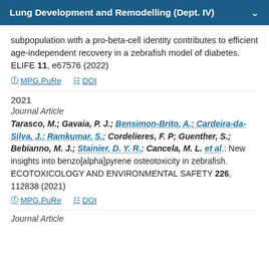Lung Development and Remodelling (Dept. IV)
subpopulation with a pro-beta-cell identity contributes to efficient age-independent recovery in a zebrafish model of diabetes. ELIFE 11, e67576 (2022)
MPG.PuRe   DOI
2021
Journal Article
Tarasco, M.; Gavaia, P. J.; Bensimon-Brito, A.; Cardeira-da-Silva, J.; Ramkumar, S.; Cordelieres, F. P.; Guenther, S.; Bebianno, M. J.; Stainier, D. Y. R.; Cancela, M. L. et al.: New insights into benzo[alpha]pyrene osteotoxicity in zebrafish. ECOTOXICOLOGY AND ENVIRONMENTAL SAFETY 226, 112838 (2021)
MPG.PuRe   DOI
Journal Article